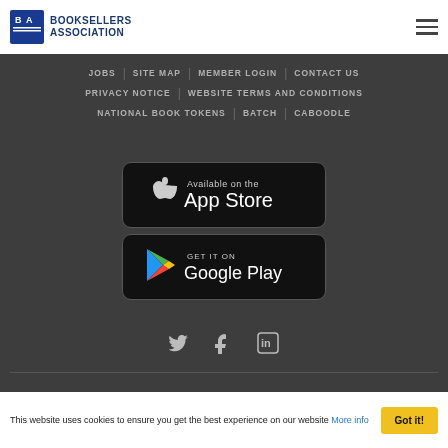Booksellers Association
JOBS | SITE MAP | MEMBER LOGIN | CONTACT US
PRIVACY NOTICE | WEBSITE TERMS AND CONDITIONS
NATIONAL BOOK TOKENS | BATCH | CABOODLE
[Figure (screenshot): Available on the App Store button]
[Figure (screenshot): Get it on Google Play button]
[Figure (infographic): Social media icons: Twitter, Facebook, LinkedIn]
This website uses cookies to ensure you get the best experience on our website More info Got it!